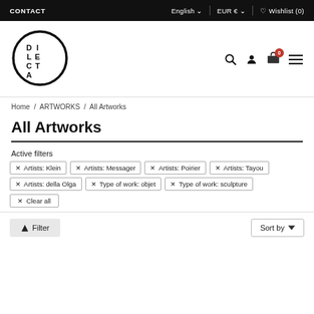CONTACT | English EUR € Wishlist (0)
[Figure (logo): Dilecta logo — circle with DI LE CT A text arranged in a cross pattern]
Home / ARTWORKS / All Artworks
All Artworks
Active filters
✕ Artists: Klein
✕ Artists: Messager
✕ Artists: Poirier
✕ Artists: Tayou
✕ Artists: della Olga
✕ Type of work: objet
✕ Type of work: sculpture
✕ Clear all
Filter
Sort by